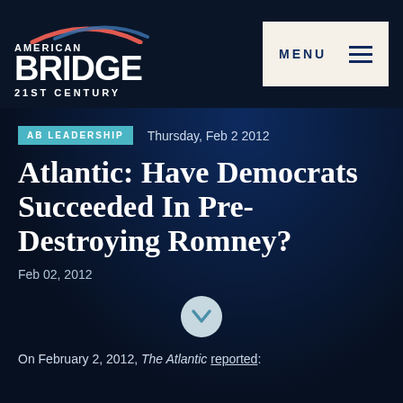[Figure (logo): American Bridge 21st Century logo with red and blue arc above text]
MENU
AB LEADERSHIP   Thursday, Feb 2 2012
Atlantic: Have Democrats Succeeded In Pre-Destroying Romney?
Feb 02, 2012
On February 2, 2012, The Atlantic reported: